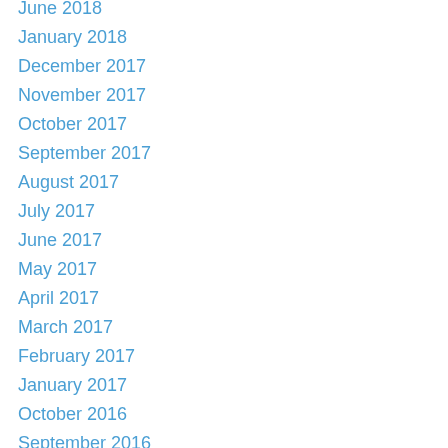June 2018
January 2018
December 2017
November 2017
October 2017
September 2017
August 2017
July 2017
June 2017
May 2017
April 2017
March 2017
February 2017
January 2017
October 2016
September 2016
July 2016
April 2016
January 2016
December 2015